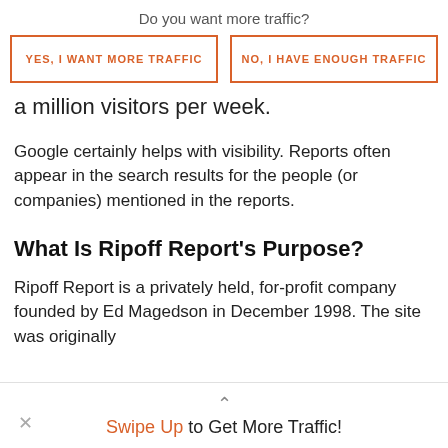Do you want more traffic?
[Figure (other): Two buttons: 'YES, I WANT MORE TRAFFIC' and 'NO, I HAVE ENOUGH TRAFFIC' with orange borders and orange text]
a million visitors per week.
Google certainly helps with visibility. Reports often appear in the search results for the people (or companies) mentioned in the reports.
What Is Ripoff Report's Purpose?
Ripoff Report is a privately held, for-profit company founded by Ed Magedson in December 1998. The site was originally
Swipe Up to Get More Traffic!